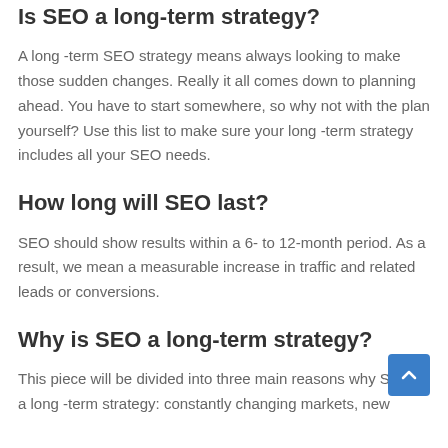Is SEO a long-term strategy?
A long -term SEO strategy means always looking to make those sudden changes. Really it all comes down to planning ahead. You have to start somewhere, so why not with the plan yourself? Use this list to make sure your long -term strategy includes all your SEO needs.
How long will SEO last?
SEO should show results within a 6- to 12-month period. As a result, we mean a measurable increase in traffic and related leads or conversions.
Why is SEO a long-term strategy?
This piece will be divided into three main reasons why SEO is a long -term strategy: constantly changing markets, new